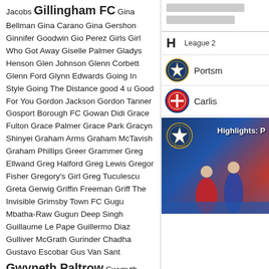Jacobs Gillingham FC Gina Bellman Gina Carano Gina Gershon Ginnifer Goodwin Gio Perez Girls Girl Who Got Away Giselle Palmer Gladys Henson Glen Johnson Glenn Corbett Glenn Ford Glynn Edwards Going In Style Going The Distance good 4 u Good For You Gordon Jackson Gordon Tanner Gosport Borough FC Gowan Didi Grace Fulton Grace Palmer Grace Park Gracyn Shinyei Graham Arms Graham McTavish Graham Phillips Greer Grammer Greg Ellwand Greg Halford Greg Lewis Gregor Fisher Gregory's Girl Greg Tuculescu Greta Gerwig Griffin Freeman Griff The Invisible Grimsby Town FC Gugu Mbatha-Raw Gugun Deep Singh Guillaume Le Pape Guillermo Diaz Gulliver McGrath Gurinder Chadha Gustavo Escobar Gus Van Sant Gwyneth Paltrow Gwynyth Walsh H+S Aviation Habree Larratt Hackett Hailee Steinfeld Haji Mnoga Halcyon Haley Bennett Haley Lu Richardson Haley Pullos Haley Ramm Hal Holbrook Halley Wegryn Gross Halston Sage Hamish Linklater Hammed Animashaun Hammer Horror Hampton &
[Figure (screenshot): Right column showing: two gray placeholder bars at top, then a table section with 'H' label and 'League 2' text, Portsmouth FC badge and name, Carlisle United badge and partial name, and a highlights image at bottom with Portsmouth FC badge and 'Highlights: P...' text overlay with football players]